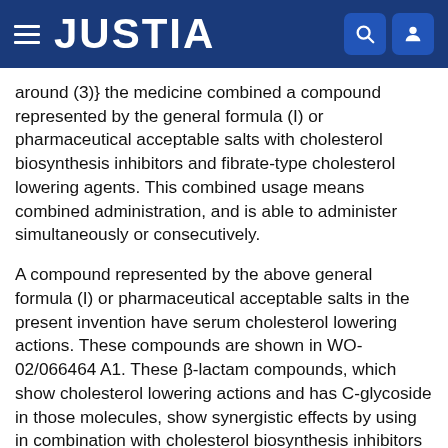JUSTIA
around (3)} the medicine combined a compound represented by the general formula (I) or pharmaceutical acceptable salts with cholesterol biosynthesis inhibitors and fibrate-type cholesterol lowering agents. This combined usage means combined administration, and is able to administer simultaneously or consecutively.
A compound represented by the above general formula (I) or pharmaceutical acceptable salts in the present invention have serum cholesterol lowering actions. These compounds are shown in WO-02/066464 A1. These β-lactam compounds, which show cholesterol lowering actions and has C-glycoside in those molecules, show synergistic effects by using in combination with cholesterol biosynthesis inhibitors and/or fibrate-type cholesterol lowering agents for serum cholesterol